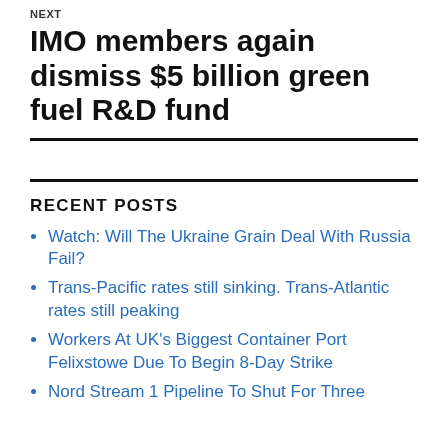NEXT
IMO members again dismiss $5 billion green fuel R&D fund
RECENT POSTS
Watch: Will The Ukraine Grain Deal With Russia Fail?
Trans-Pacific rates still sinking. Trans-Atlantic rates still peaking
Workers At UK's Biggest Container Port Felixstowe Due To Begin 8-Day Strike
Nord Stream 1 Pipeline To Shut For Three